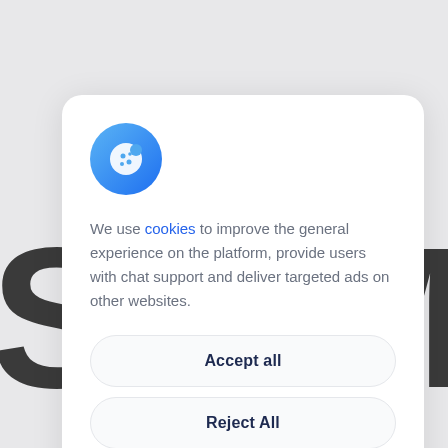[Figure (screenshot): Cookie consent modal dialog with a blue gradient cookie icon, descriptive text about cookie usage, and three buttons: Accept all, Reject All, Customise. Background shows partially visible large bold letters 'S' and 'M'.]
We use cookies to improve the general experience on the platform, provide users with chat support and deliver targeted ads on other websites.
Accept all
Reject All
Customise